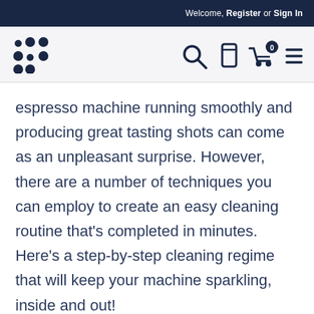Welcome, Register or Sign In
[Figure (logo): Dot-pattern logo made of dark navy blue circles arranged in a grid pattern]
espresso machine running smoothly and producing great tasting shots can come as an unpleasant surprise. However, there are a number of techniques you can employ to create an easy cleaning routine that’s completed in minutes. Here’s a step-by-step cleaning regime that will keep your machine sparkling, inside and out!